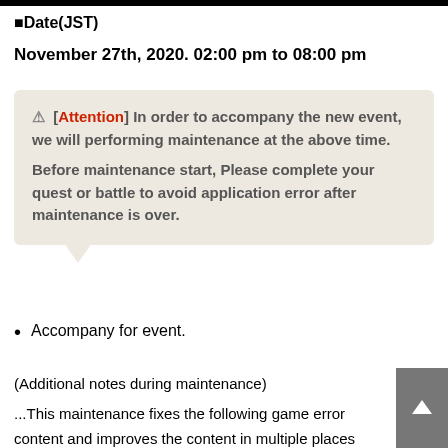■Date(JST)
November 27th, 2020. 02:00 pm to 08:00 pm
⚠ [Attention] In order to accompany the new event, we will performing maintenance at the above time. Before maintenance start, Please complete your quest or battle to avoid application error after maintenance is over.
Accompany for event.
(Additional notes during maintenance)
...This maintenance fixes the following game error
content and improves the content in multiple places